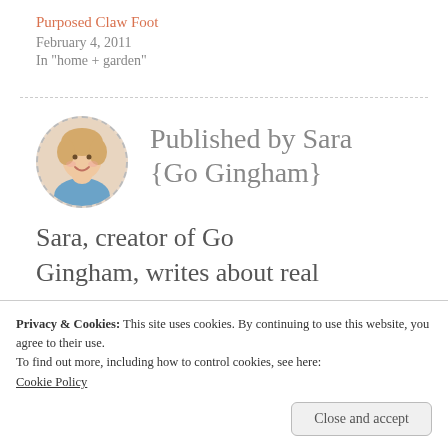Purposed Claw Foot
February 4, 2011
In "home + garden"
Published by Sara {Go Gingham}
[Figure (photo): Circular portrait photo of Sara, a woman with blonde hair and a blue top, smiling.]
Sara, creator of Go Gingham, writes about real
Privacy & Cookies: This site uses cookies. By continuing to use this website, you agree to their use.
To find out more, including how to control cookies, see here:
Cookie Policy
Close and accept